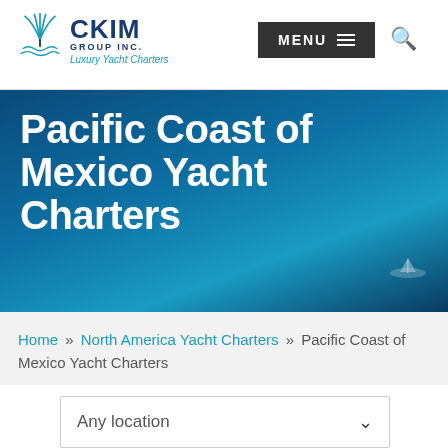CKIM GROUP INC. Luxury Yacht Charters — MENU navigation with search icon
Pacific Coast of Mexico Yacht Charters
Home » North America Yacht Charters » Pacific Coast of Mexico Yacht Charters
Any location